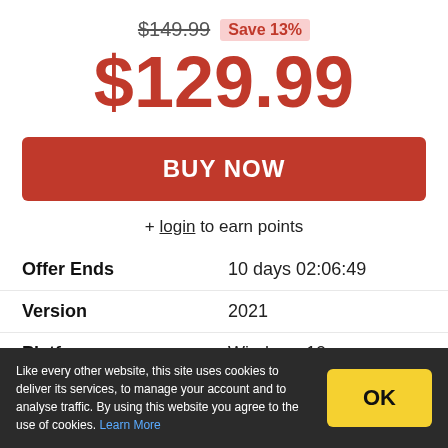$149.99  Save 13%
$129.99
BUY NOW
+ login to earn points
| Offer Ends | 10 days 02:06:49 |
| Version | 2021 |
| Platform | Windows 10 |
| Manufacturer | Adobe |
Like every other website, this site uses cookies to deliver its services, to manage your account and to analyse traffic. By using this website you agree to the use of cookies. Learn More